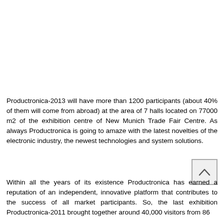Productronica-2013 will have more than 1200 participants (about 40% of them will come from abroad) at the area of 7 halls located on 77000 m2 of the exhibition centre of New Munich Trade Fair Centre. As always Productronica is going to amaze with the latest novelties of the electronic industry, the newest technologies and system solutions.
Within all the years of its existence Productronica has earned a reputation of an independent, innovative platform that contributes to the success of all market participants. So, the last exhibition Productronica-2011 brought together around 40,000 visitors from 86